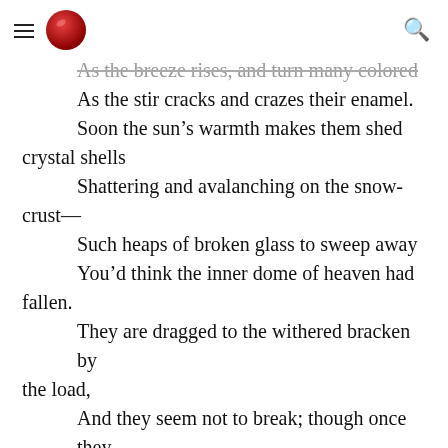[hamburger menu] [logo] [search icon]
As the breeze rises, and turn many colored
        As the stir cracks and crazes their enamel.
        Soon the sun's warmth makes them shed crystal shells
        Shattering and avalanching on the snow-crust—
        Such heaps of broken glass to sweep away
        You'd think the inner dome of heaven had fallen.
        They are dragged to the withered bracken by the load,
        And they seem not to break; though once they are bowed